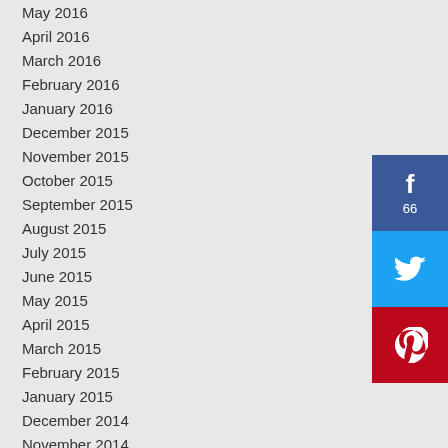May 2016
April 2016
March 2016
February 2016
January 2016
December 2015
November 2015
October 2015
September 2015
August 2015
July 2015
June 2015
May 2015
April 2015
March 2015
February 2015
January 2015
December 2014
November 2014
[Figure (infographic): Social sharing buttons: Facebook with count 66, Twitter, Pinterest]